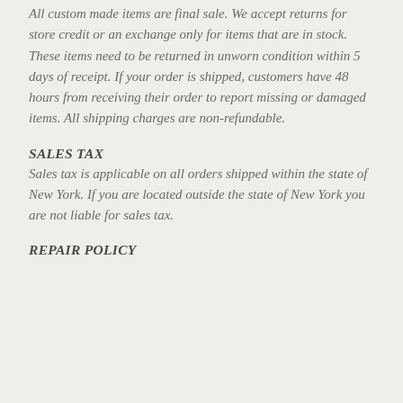All custom made items are final sale. We accept returns for store credit or an exchange only for items that are in stock. These items need to be returned in unworn condition within 5 days of receipt. If your order is shipped, customers have 48 hours from receiving their order to report missing or damaged items. All shipping charges are non-refundable.
SALES TAX
Sales tax is applicable on all orders shipped within the state of New York. If you are located outside the state of New York you are not liable for sales tax.
REPAIR POLICY